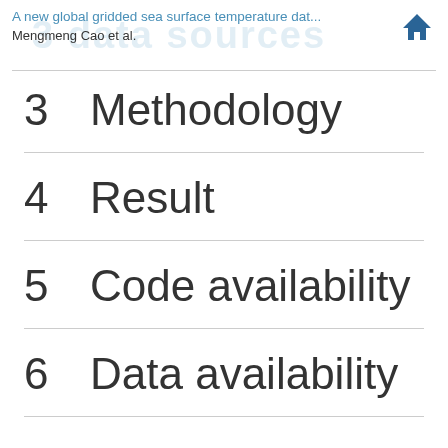A new global gridded sea surface temperature dat...
Mengmeng Cao et al.
3  Methodology
4  Result
5  Code availability
6  Data availability